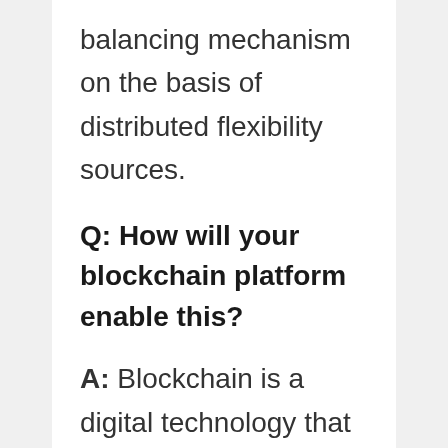balancing mechanism on the basis of distributed flexibility sources.
Q: How will your blockchain platform enable this?
A: Blockchain is a digital technology that helps to register and validate all these new participants in the energy system. It's a shared database, where the appropriator actor on the system can access specific data to perform their